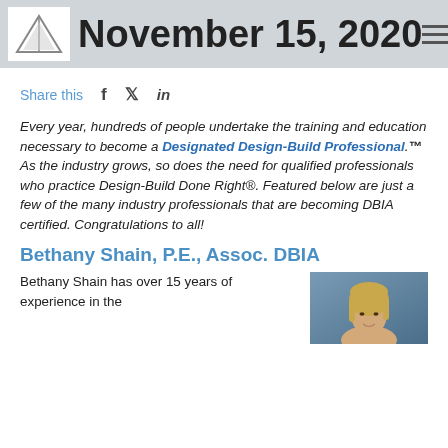November 15, 2020
Share this
Every year, hundreds of people undertake the training and education necessary to become a Designated Design-Build Professional.™ As the industry grows, so does the need for qualified professionals who practice Design-Build Done Right®. Featured below are just a few of the many industry professionals that are becoming DBIA certified. Congratulations to all!
Bethany Shain, P.E., Assoc. DBIA
Bethany Shain has over 15 years of experience in the
[Figure (photo): Headshot photo of Bethany Shain, a woman with blonde hair against a blue/grey background]